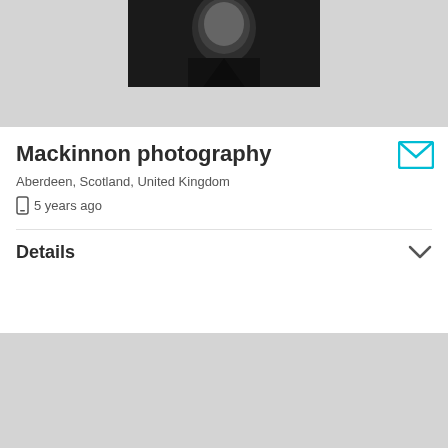[Figure (photo): Black and white portrait photo, top portion visible showing person in dark V-neck clothing]
Mackinnon photography
Aberdeen, Scotland, United Kingdom
📱 5 years ago
Details